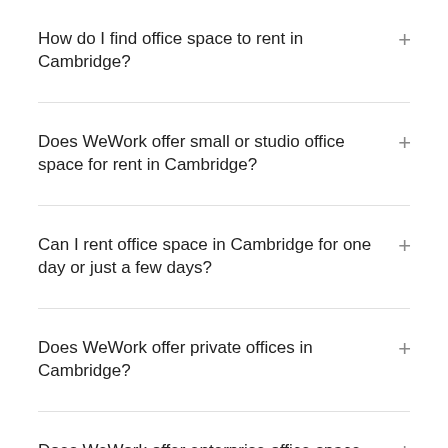How do I find office space to rent in Cambridge?
Does WeWork offer small or studio office space for rent in Cambridge?
Can I rent office space in Cambridge for one day or just a few days?
Does WeWork offer private offices in Cambridge?
Does WeWork offer enterprise office space solutions in Cambridge?